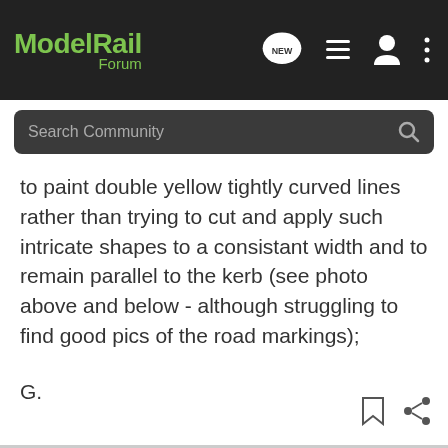ModelRail Forum
to paint double yellow tightly curved lines rather than trying to cut and apply such intricate shapes to a consistant width and to remain parallel to the kerb (see photo above and below - although struggling to find good pics of the road markings);
G.